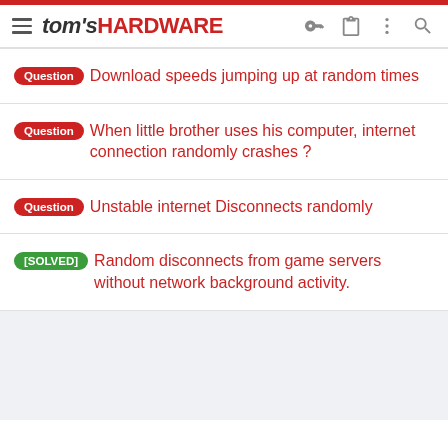tom's HARDWARE
Question — Download speeds jumping up at random times
Question — When little brother uses his computer, internet connection randomly crashes ?
Question — Unstable internet Disconnects randomly
[SOLVED] Random disconnects from game servers without network background activity.